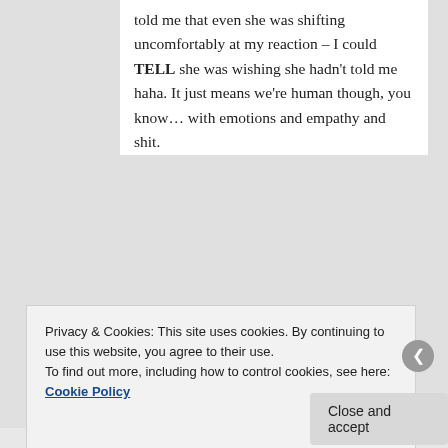told me that even she was shifting uncomfortably at my reaction – I could TELL she was wishing she hadn't told me haha. It just means we're human though, you know… with emotions and empathy and shit.
[Figure (other): Red heart emoji and blue heart emoji as reaction icons]
★ Liked by 1 person
Privacy & Cookies: This site uses cookies. By continuing to use this website, you agree to their use. To find out more, including how to control cookies, see here: Cookie Policy
Close and accept